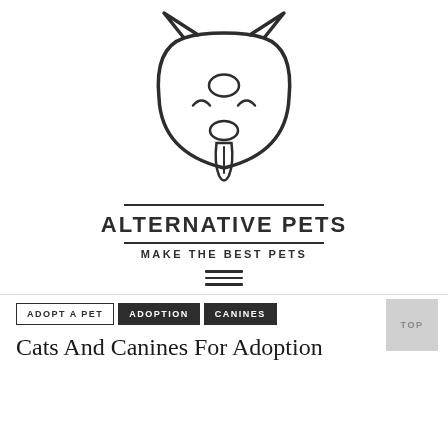[Figure (logo): Line-art dog face logo: rounded head outline, two pointed ears, oval nose, two arched eyebrows, tongue hanging out]
ALTERNATIVE PETS
MAKE THE BEST PETS
[Figure (other): Hamburger menu icon: three horizontal lines]
ADOPT A PET
ADOPTION
CANINES
Cats And Canines For Adoption